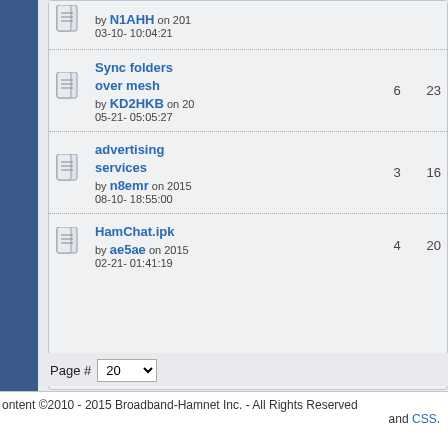by N1AHH on 2015-03-10- 10:04:21
Sync folders over mesh by KD2HKB on 2015-05-21- 05:05:27 | 6 | 230+
advertising services by n8emr on 2015-08-10- 18:55:00 | 3 | 160+
HamChat.ipk by ae5ae on 2015-02-21- 01:41:19 | 4 | 208+
Page # 20
Powered by
SPONSORED AD:
ontent ©2010 - 2015 Broadband-Hamnet Inc. - All Rights Reserved and CSS.